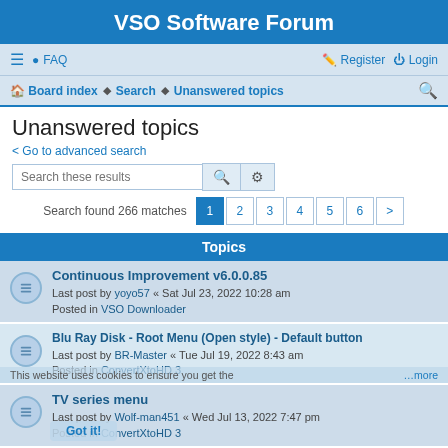VSO Software Forum
≡  FAQ   Register  Login
Board index · Search · Unanswered topics
Unanswered topics
< Go to advanced search
Search these results
Search found 266 matches  1 2 3 4 5 6 >
Topics
Continuous Improvement v6.0.85
Last post by yoyo57 « Sat Jul 23, 2022 10:28 am
Posted in VSO Downloader
Blu Ray Disk - Root Menu (Open style) - Default button
Last post by BR-Master « Tue Jul 19, 2022 8:43 am
Posted in ConvertXtoHD 3
TV series menu
Last post by Wolf-man451 « Wed Jul 13, 2022 7:47 pm
Posted in ConvertXtoHD 3
Text to Speech Help!
Last post by ...